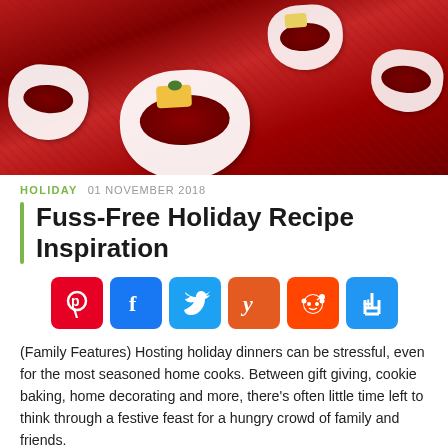[Figure (photo): Holiday food photo showing wonton cups filled with cranberry sauce and cheese on a red tablecloth background]
HOLIDAY   01 NOVEMBER 2018
Fuss-Free Holiday Recipe Inspiration
[Figure (infographic): Social media sharing buttons: Pinterest, Facebook, Twitter, Yummly, Reddit, Share]
(Family Features) Hosting holiday dinners can be stressful, even for the most seasoned home cooks. Between gift giving, cookie baking, home decorating and more, there's often little time left to think through a festive feast for a hungry crowd of family and friends.